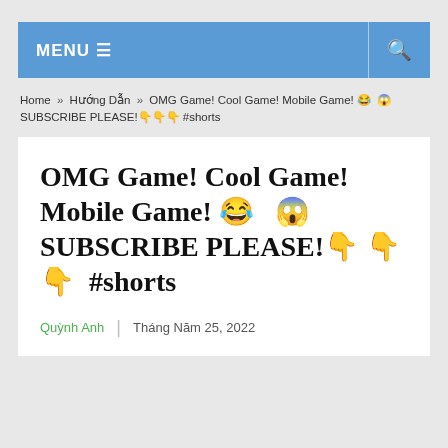MENU ☰  🔍
Home » Hướng Dẫn » OMG Game! Cool Game! Mobile Game! 😂 😱 SUBSCRIBE PLEASE!👇👇👇 #shorts
OMG Game! Cool Game! Mobile Game! 😂 😱 SUBSCRIBE PLEASE!👇👇 👇 #shorts
Quỳnh Anh  |  Tháng Năm 25, 2022